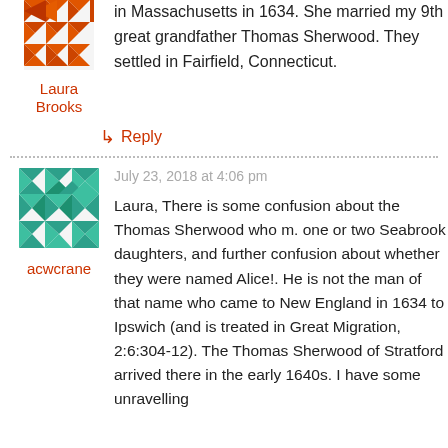[Figure (illustration): Avatar/profile icon for Laura Brooks - decorative geometric pattern in orange/red colors]
Laura Brooks
in Massachusetts in 1634. She married my 9th great grandfather Thomas Sherwood. They settled in Fairfield, Connecticut.
↳ Reply
[Figure (illustration): Avatar/profile icon for acwcrane - decorative geometric pattern in teal/green colors]
acwcrane
July 23, 2018 at 4:06 pm
Laura, There is some confusion about the Thomas Sherwood who m. one or two Seabrook daughters, and further confusion about whether they were named Alice!. He is not the man of that name who came to New England in 1634 to Ipswich (and is treated in Great Migration, 2:6:304-12). The Thomas Sherwood of Stratford arrived there in the early 1640s. I have some unravelling